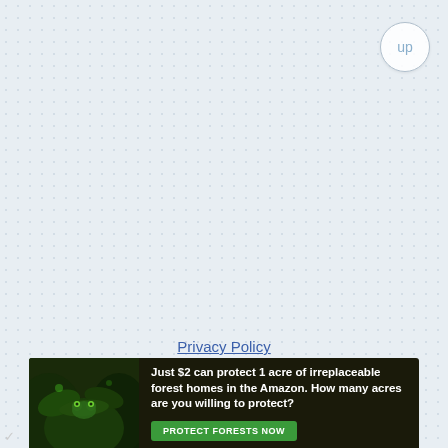[Figure (other): Circular 'up' navigation button in the top-right corner, with light border and 'up' text in muted blue]
Privacy Policy
[Figure (infographic): Advertisement banner: forest/Amazon themed image on left with a frog, text reads 'Just $2 can protect 1 acre of irreplaceable forest homes in the Amazon. How many acres are you willing to protect?' with a green 'PROTECT FORESTS NOW' button]